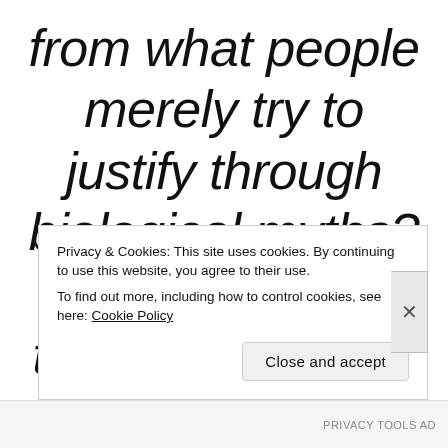from what people merely try to justify through biological myths? A good rule of thumb is 'Biology
Privacy & Cookies: This site uses cookies. By continuing to use this website, you agree to their use.
To find out more, including how to control cookies, see here: Cookie Policy
Close and accept
PRIVACY TOOLS AD